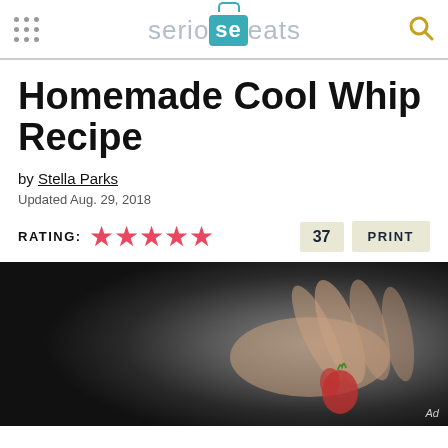serious eats
Homemade Cool Whip Recipe
by Stella Parks
Updated Aug. 29, 2018
RATING: ★★★★★   37   PRINT
[Figure (photo): Close-up photo of a hand holding a small red fruit (strawberry) against a dark background, with 'Ad' label in bottom right corner.]